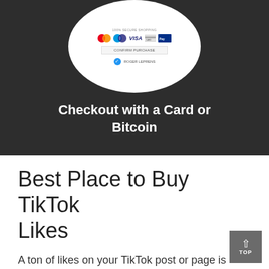[Figure (screenshot): Payment checkout UI showing credit card logos (Mastercard, Maestro, Visa, and others) with '100% Secure Shopping' text, a 'Confirm Purchase' button, and a success checkmark, displayed inside a circular white card on a dark background.]
Checkout with a Card or Bitcoin
Best Place to Buy TikTok Likes
A ton of likes on your TikTok post or page is